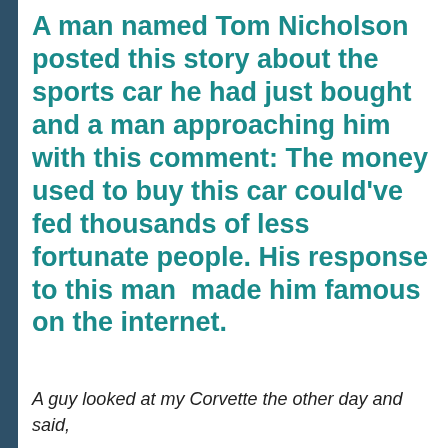A man named Tom Nicholson posted this story about the sports car he had just bought and a man approaching him with this comment: The money used to buy this car could've fed thousands of less fortunate people. His response to this man  made him famous on the internet.
A guy looked at my Corvette the other day and said,
“I wonder how many people could have